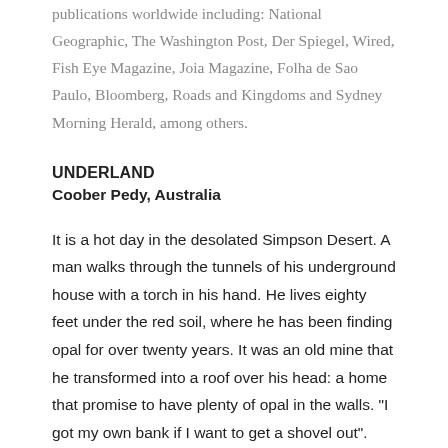publications worldwide including: National Geographic, The Washington Post, Der Spiegel, Wired, Fish Eye Magazine, Joia Magazine, Folha de Sao Paulo, Bloomberg, Roads and Kingdoms and Sydney Morning Herald, among others.
UNDERLAND
Coober Pedy, Australia
It is a hot day in the desolated Simpson Desert. A man walks through the tunnels of his underground house with a torch in his hand. He lives eighty feet under the red soil, where he has been finding opal for over twenty years. It was an old mine that he transformed into a roof over his head: a home that promise to have plenty of opal in the walls. "I got my own bank if I want to get a shovel out". Says Martin Faggetter, an English miner.